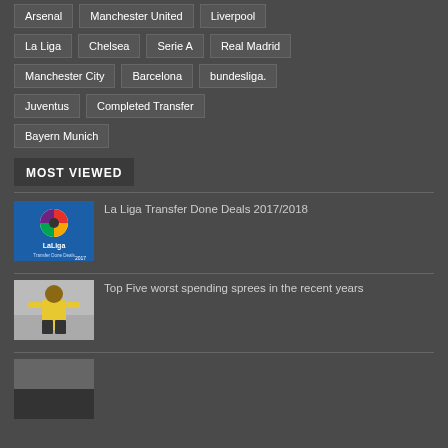Arsenal
Manchester United
Liverpool
La Liga
Chelsea
Serie A
Real Madrid
Manchester City
Barcelona
bundesliga.
Juventus
Completed Transfer
Bayern Munich
MOST VIEWED
[Figure (photo): La Liga Transfer Done Deals 2017/2018 logo]
La Liga Transfer Done Deals 2017/2018
[Figure (photo): Soccer player in yellow shirt]
Top Five worst spending sprees in the recent years